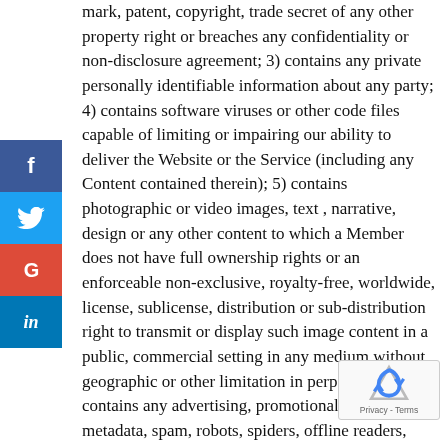[Figure (other): Social media share buttons: Facebook (f), Twitter (bird), Google+ (G), LinkedIn (in) — vertical stack on left side]
mark, patent, copyright, trade secret of any other property right or breaches any confidentiality or non-disclosure agreement; 3) contains any private personally identifiable information about any party; 4) contains software viruses or other code files capable of limiting or impairing our ability to deliver the Website or the Service (including any Content contained therein); 5) contains photographic or video images, text , narrative, design or any other content to which a Member does not have full ownership rights or an enforceable non-exclusive, royalty-free, worldwide, license, sublicense, distribution or sub-distribution right to transmit or display such image content in a public, commercial setting in any medium without geographic or other limitation in perpetuity; 6) contains any advertising, promotional, misleading metadata, spam, robots, spiders, offline readers, junk mail, scams or solicitation content; 7) contain links to other websites or; 8) contains video or music.
Notwithstanding anything contained herein to the contrary, the Company reserves the right, exercisable at